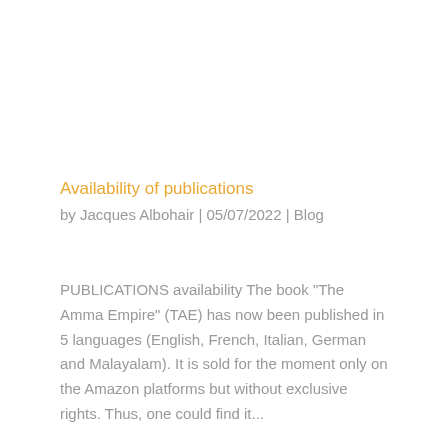Availability of publications
by Jacques Albohair | 05/07/2022 | Blog
PUBLICATIONS availability The book “The Amma Empire” (TAE) has now been published in 5 languages (English, French, Italian, German and Malayalam). It is sold for the moment only on the Amazon platforms but without exclusive rights. Thus, one could find it...